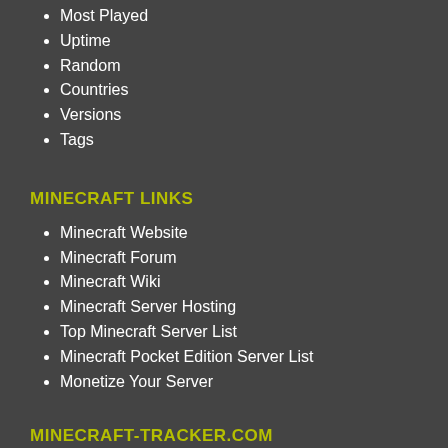Most Played
Uptime
Random
Countries
Versions
Tags
MINECRAFT LINKS
Minecraft Website
Minecraft Forum
Minecraft Wiki
Minecraft Server Hosting
Top Minecraft Server List
Minecraft Pocket Edition Server List
Monetize Your Server
MINECRAFT-TRACKER.COM
About
Statistics